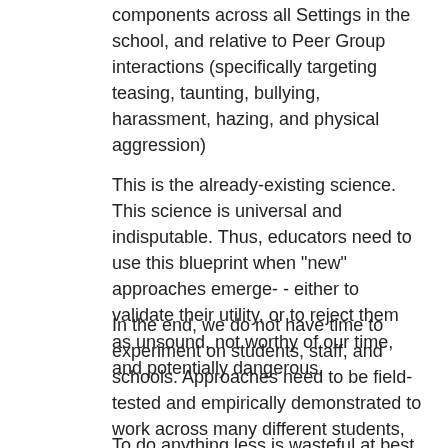components across all Settings in the school, and relative to Peer Group interactions (specifically targeting teasing, taunting, bullying, harassment, hazing, and physical aggression)
This is the already-existing science. This science is universal and indisputable. Thus, educators need to use this blueprint when "new" approaches emerge- - either to validate their utility, or to reject them as unsound, not worthy of our time, and potentially dangerous.
In the end, we do not have time to experiment on students, staff, and schools. Approaches need to be field-tested and empirically demonstrated to work across many different students, staff, and schools before large-scale implementation.
To do anything less is wasteful at best. . . and